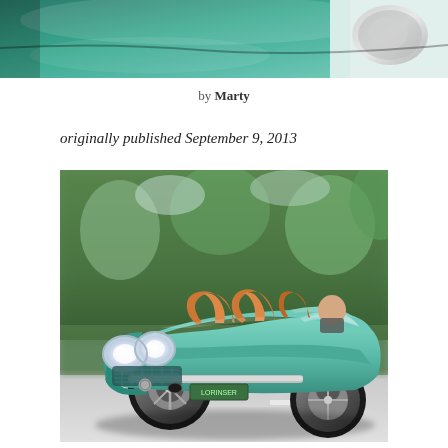[Figure (photo): Close-up partial photo of a green/teal car surface and mirror at the top of the page]
by Marty
originally published September 9, 2013
[Figure (photo): A teal/mint green open-top sports car (resembling a Mercedes roadster) being driven on a road with trees in the background, featuring orange headrests and distinctive bug-eye headlights]